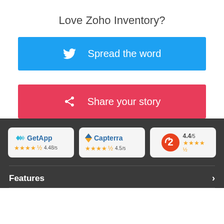Love Zoho Inventory?
[Figure (infographic): Blue Twitter button with bird icon and text 'Spread the word']
[Figure (infographic): Red/pink share button with share icon and text 'Share your story']
[Figure (infographic): Three review badges: GetApp 4.48/5, Capterra 4.5/5, G2 4.4/5]
Features